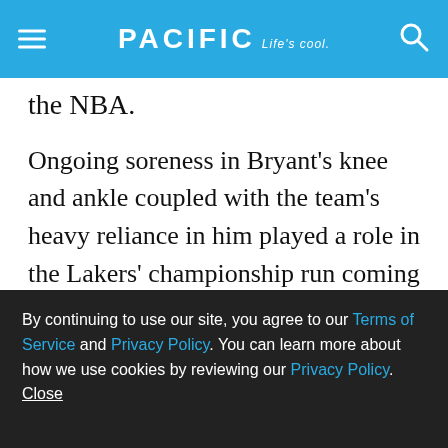PACIFIC Life's cool.
the NBA.
Ongoing soreness in Bryant's knee and ankle coupled with the team's heavy reliance in him played a role in the Lakers' championship run coming to an end in 2011. Bryant posted his lowest points per game totals since the 2003-04 season as he dealt with the aftereffects of offseason arthroscopic knee surgery. He went on to win his fourth NBA All-Star Game most-valuable-player award but fell short of his ultimate goal of winning a sixth NBA title. Bryant also became the youngest player in NBA history to surpass 27,000 career points
By continuing to use our site, you agree to our Terms of Service and Privacy Policy. You can learn more about how we use cookies by reviewing our Privacy Policy. Close